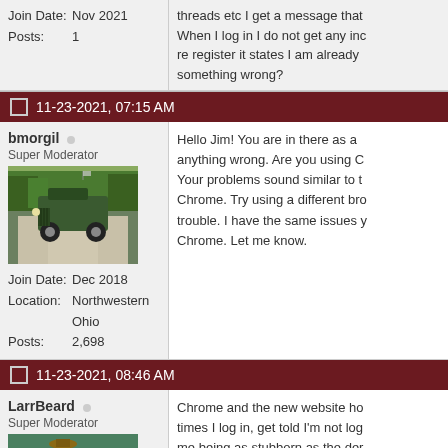Join Date: Nov 2021
Posts: 1
threads etc I get a message that... When I log in I do not get any inc... re register it states I am already... something wrong?
11-23-2021, 07:15 AM
bmorgil (offline)
Super Moderator
Join Date: Dec 2018
Location: Northwestern Ohio
Posts: 2,698
[Figure (photo): Avatar photo of a dark green military jeep on a road with trees in background]
Hello Jim! You are in there as a... anything wrong. Are you using C... Your problems sound similar to t... Chrome. Try using a different br... trouble. I have the same issues ... Chrome. Let me know.
11-23-2021, 08:46 AM
LarrBeard (offline)
Super Moderator
Chrome and the new website ho... times I log in, get told I'm not log... me being as stubborn as the den...

Welcome .. let us know about yo...